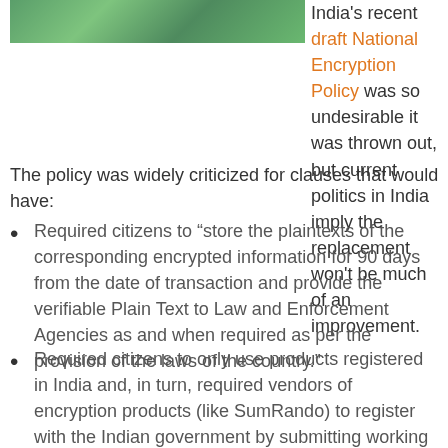[Figure (photo): Green abstract network/technology background image, cropped at top of page]
India's recent draft National Encryption Policy was so undesirable it was thrown out, but current politics in India imply the replacement won't be much of an improvement.
The policy was widely criticized for clauses that would have:
Required citizens to “store the plaintexts of the corresponding encrypted information for 90 days from the date of transaction and provide the verifiable Plain Text to Law and Enforcement Agencies as and when required as per the provision of the laws of the country.”
Required citizens to only use products registered in India and, in turn, required vendors of encryption products (like SumRando) to register with the Indian government by submitting working copies of any hardware or software. (A later addendum clarified the exclusion of mass use products such as Facebook, Twitter and